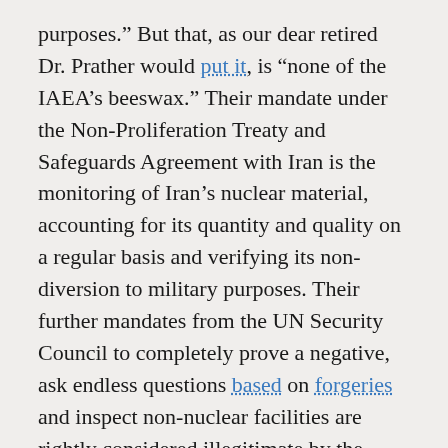purposes.” But that, as our dear retired Dr. Prather would put it, is “none of the IAEA’s beeswax.” Their mandate under the Non-Proliferation Treaty and Safeguards Agreement with Iran is the monitoring of Iran’s nuclear material, accounting for its quantity and quality on a regular basis and verifying its non-diversion to military purposes. Their further mandates from the UN Security Council to completely prove a negative, ask endless questions based on forgeries and inspect non-nuclear facilities are rightly considered illegitimate by the Iranians.
The rest of the article elaborates on the theme that that the “Supreme Leader,” Ayatollah Khamenei, is the one with the power to decide and that he is the more “cautious” and “circumspect” about the prospect of starting a nuclear weapons program and perhaps stoking a regional arms race than his already willing...